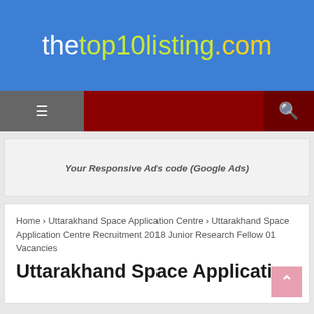thetop10listing.com
[Figure (screenshot): Website navigation bar with hamburger menu on left and search icon on right, dark red background]
Your Responsive Ads code (Google Ads)
Home › Uttarakhand Space Application Centre › Uttarakhand Space Application Centre Recruitment 2018 Junior Research Fellow 01 Vacancies
Uttarakhand Space Application